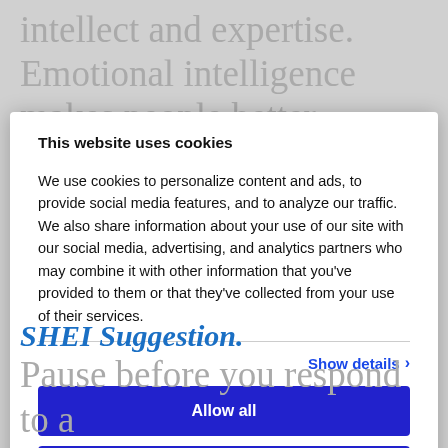intellect and expertise. Emotional intelligence makes people better
This website uses cookies
We use cookies to personalize content and ads, to provide social media features, and to analyze our traffic. We also share information about your use of our site with our social media, advertising, and analytics partners who may combine it with other information that you've provided to them or that they've collected from your use of their services.
Show details >
Allow all
Customize >
SHEI Suggestion.
Pause before you respond to a